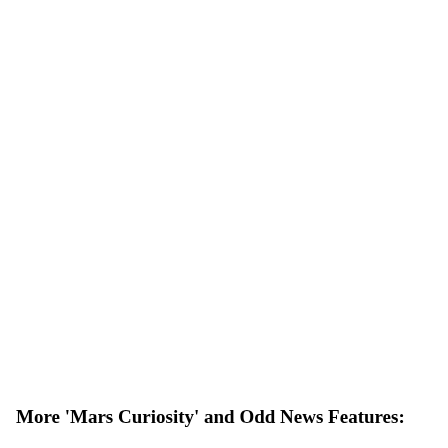More 'Mars Curiosity' and Odd News Features: